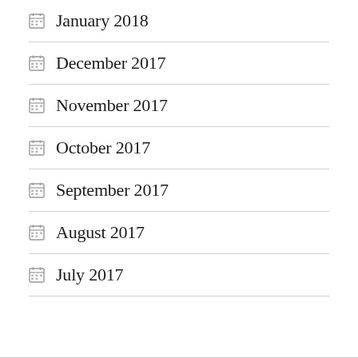January 2018
December 2017
November 2017
October 2017
September 2017
August 2017
July 2017